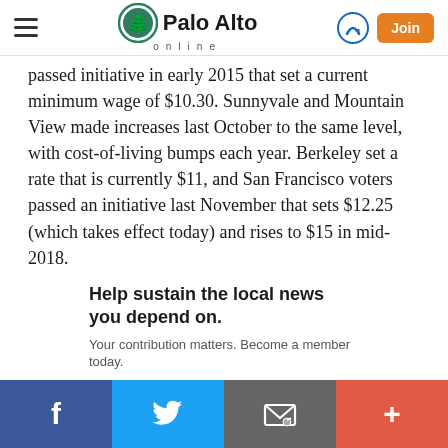Palo Alto online
passed initiative in early 2015 that set a current minimum wage of $10.30. Sunnyvale and Mountain View made increases last October to the same level, with cost-of-living bumps each year. Berkeley set a rate that is currently $11, and San Francisco voters passed an initiative last November that sets $12.25 (which takes effect today) and rises to $15 in mid-2018.
Help sustain the local news you depend on.
Your contribution matters. Become a member today.
Join
f  Twitter  Email  +